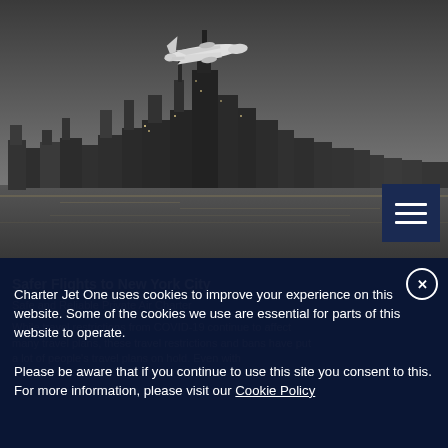[Figure (photo): Black and white aerial photo of New York City skyline at night with a commercial airplane flying overhead, viewed from the water.]
Charter Jet One uses cookies to improve your experience on this website. Some of the cookies we use are essential for parts of this website to operate. Please be aware that if you continue to use this site you consent to this. For more information, please visit our Cookie Policy